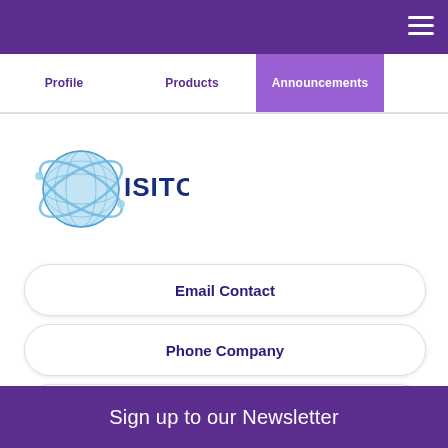Profile | Products | Announcements
[Figure (logo): ISITC logo with blue globe and orbital rings, text 'ISITC' in dark blue]
Email Contact
Phone Company
Visit Website
Sign up to our Newsletter